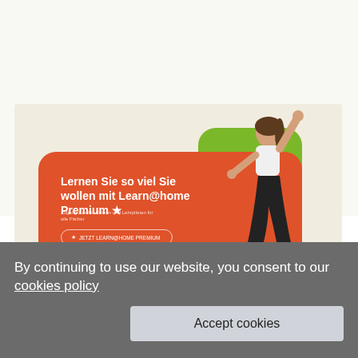[Figure (screenshot): Screenshot of an e-learning platform showing an orange promotional banner card with the text 'Lernen Sie so viel Sie wollen mit Learn@home Premium' and a jumping woman against a green rounded rectangle background]
By continuing to use our website, you consent to our cookies policy
Accept cookies